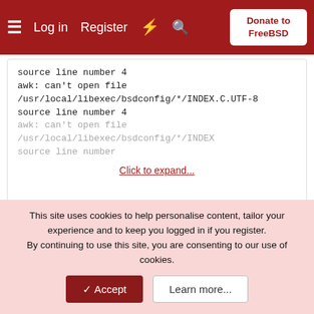Log in  Register  Donate to FreeBSD
source line number 4
awk: can't open file /usr/local/libexec/bsdconfig/*/INDEX.C.UTF-8
source line number 4
awk: can't open file /usr/local/libexec/bsdconfig/*/INDEX
source line number ... Click to expand...
# found it at /usr/libexec/bsdinstall/hardening
Update: Of the strange problems that I am experiencing, one is the problem of some keys not working in konsole. I restarted the computer, launched the konsole which opened with the errors:
This site uses cookies to help personalise content, tailor your experience and to keep you logged in if you register.
By continuing to use this site, you are consenting to our use of cookies.
✔ Accept   Learn more...